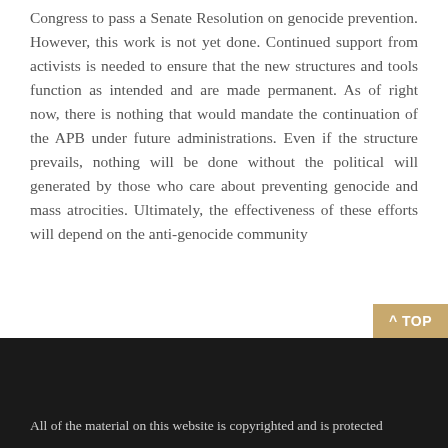Congress to pass a Senate Resolution on genocide prevention. However, this work is not yet done. Continued support from activists is needed to ensure that the new structures and tools function as intended and are made permanent. As of right now, there is nothing that would mandate the continuation of the APB under future administrations. Even if the structure prevails, nothing will be done without the political will generated by those who care about preventing genocide and mass atrocities. Ultimately, the effectiveness of these efforts will depend on the anti-genocide community
^ TOP
All of the material on this website is copyrighted and is protected